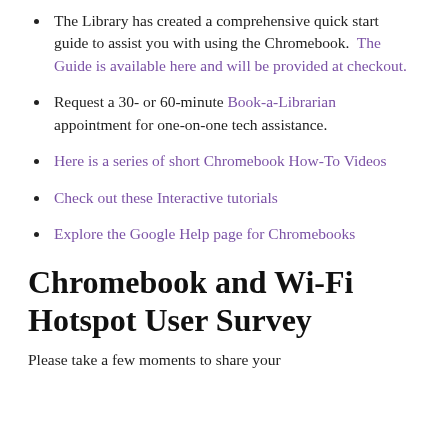The Library has created a comprehensive quick start guide to assist you with using the Chromebook.  The Guide is available here and will be provided at checkout.
Request a 30- or 60-minute Book-a-Librarian appointment for one-on-one tech assistance.
Here is a series of short Chromebook How-To Videos
Check out these Interactive tutorials
Explore the Google Help page for Chromebooks
Chromebook and Wi-Fi Hotspot User Survey
Please take a few moments to share your